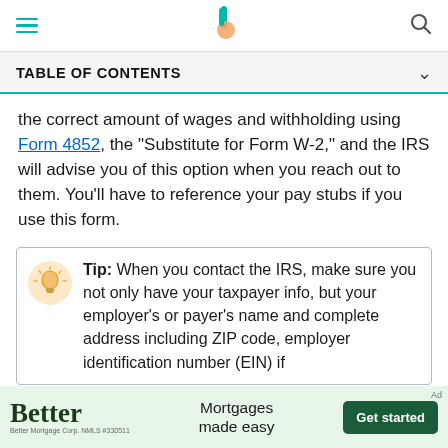Better [logo] [search icon]
TABLE OF CONTENTS
the correct amount of wages and withholding using Form 4852, the "Substitute for Form W-2," and the IRS will advise you of this option when you reach out to them. You'll have to reference your pay stubs if you use this form.
Tip: When you contact the IRS, make sure you not only have your taxpayer info, but your employer's or payer's name and complete address including ZIP code, employer identification number (EIN) if
[Figure (other): Better Mortgage advertisement banner with logo, tagline 'Mortgages made easy', and 'Get started' button]